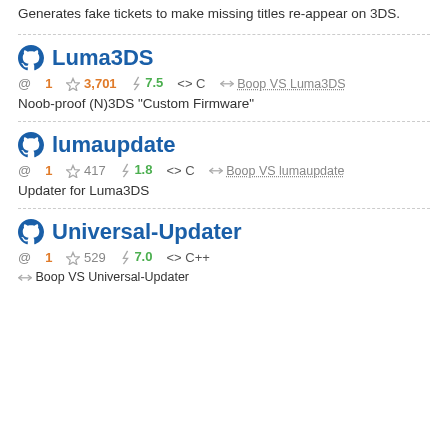Generates fake tickets to make missing titles re-appear on 3DS.
Luma3DS
@ 1  ☆ 3,701  ⚡ 7.5  <> C  ⇆ Boop VS Luma3DS
Noob-proof (N)3DS "Custom Firmware"
lumaupdate
@ 1  ☆ 417  ⚡ 1.8  <> C  ⇆ Boop VS lumaupdate
Updater for Luma3DS
Universal-Updater
@ 1  ☆ 529  ⚡ 7.0  <> C++
⇆ Boop VS Universal-Updater